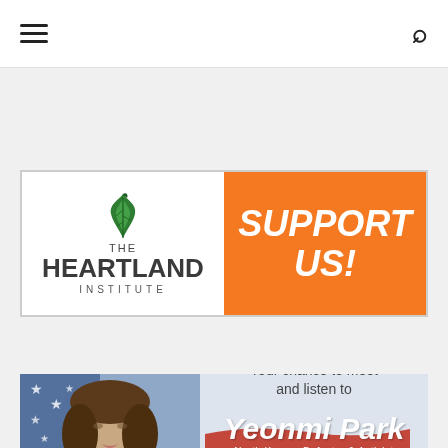≡  🔍
[Figure (logo): The Heartland Institute logo on white background left half, orange right half with bold italic white text 'SUPPORT US!']
[Figure (photo): Yeonmi Park promotional banner: photo of young Asian woman against US flag background on left, text on right: 'Your chance to meet and listen to Yeonmi Park, North Korean Defector & Activist']